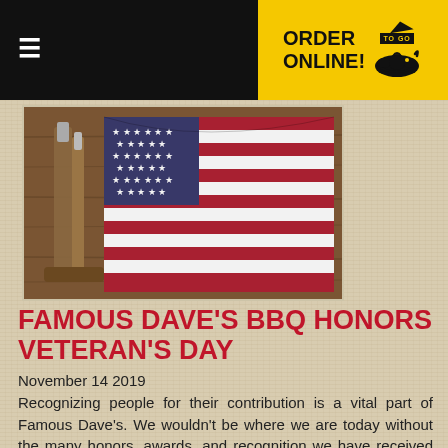ORDER ONLINE! TO GO
[Figure (photo): American flag with BBQ tools (grill brush/tongs) on a wooden surface — patriotic Veterans Day themed photo]
FAMOUS DAVE'S BBQ HONORS VETERAN'S DAY
November 14 2019
Recognizing people for their contribution is a vital part of Famous Dave's. We wouldn't be where we are today without the many honors, awards, and recognition we have received throughout the years. We also wouldn't be here as a… Read More…